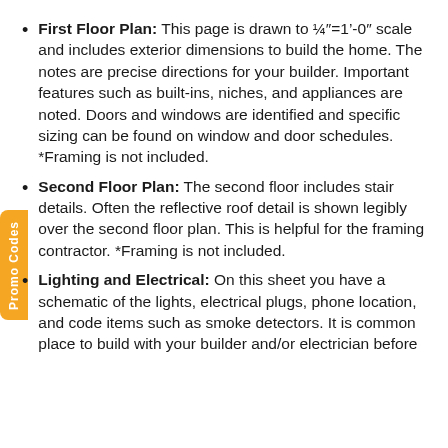First Floor Plan: This page is drawn to ¼"=1'-0" scale and includes exterior dimensions to build the home. The notes are precise directions for your builder. Important features such as built-ins, niches, and appliances are noted. Doors and windows are identified and specific sizing can be found on window and door schedules. *Framing is not included.
Second Floor Plan: The second floor includes stair details. Often the reflective roof detail is shown legibly over the second floor plan. This is helpful for the framing contractor. *Framing is not included.
Lighting and Electrical: On this sheet you have a schematic of the lights, electrical plugs, phone location, and code items such as smoke detectors. It is common place to build with your builder and/or electrician before